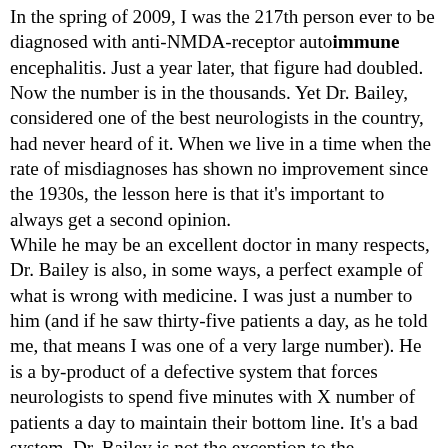In the spring of 2009, I was the 217th person ever to be diagnosed with anti-NMDA-receptor autoimmune encephalitis. Just a year later, that figure had doubled. Now the number is in the thousands. Yet Dr. Bailey, considered one of the best neurologists in the country, had never heard of it. When we live in a time when the rate of misdiagnoses has shown no improvement since the 1930s, the lesson here is that it's important to always get a second opinion. While he may be an excellent doctor in many respects, Dr. Bailey is also, in some ways, a perfect example of what is wrong with medicine. I was just a number to him (and if he saw thirty-five patients a day, as he told me, that means I was one of a very large number). He is a by-product of a defective system that forces neurologists to spend five minutes with X number of patients a day to maintain their bottom line. It's a bad system. Dr. Bailey is not the exception to the